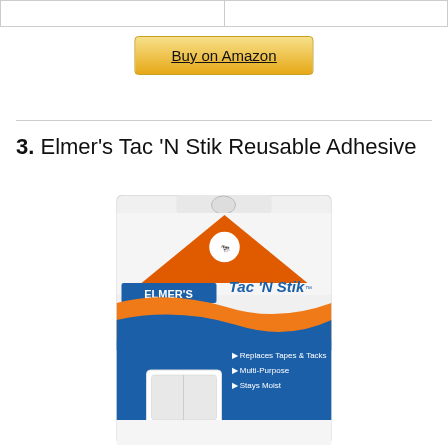|   |   |
Buy on Amazon
3. Elmer's Tac 'N Stik Reusable Adhesive
[Figure (photo): Product photo of Elmer's Tac 'N Stik Reusable Adhesive packaging. Shows orange triangle logo with ELMER'S branding, blue background with bullet points: Replaces Tapes & Tacks, Multi-Purpose, Stays Moist. White adhesive block shown at bottom.]